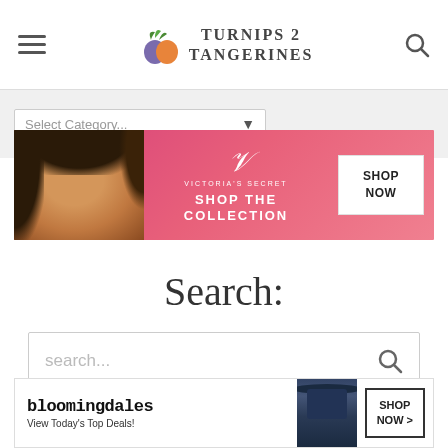Turnips 2 Tangerines - website header with hamburger menu and search icon
[Figure (screenshot): Navigation bar with Select Category dropdown]
[Figure (screenshot): Victoria's Secret advertisement banner - SHOP THE COLLECTION - SHOP NOW]
Search:
[Figure (screenshot): Search input box with placeholder text 'search...' and search icon]
[Figure (screenshot): Bloomingdale's advertisement banner - View Today's Top Deals! - SHOP NOW >]